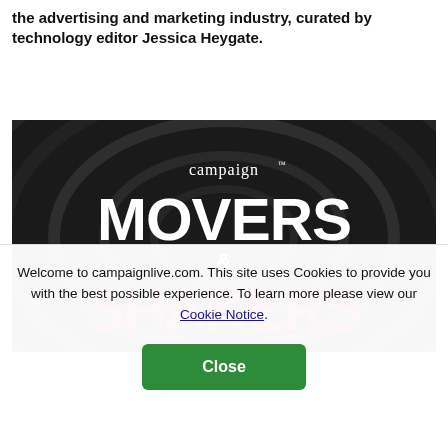the advertising and marketing industry, curated by technology editor Jessica Heygate.
[Figure (illustration): Campaign Movers & Shakers podcast/show logo on a dark circular concentric rings background. The word 'campaign' appears in serif font at the top in white, 'MOVERS' in large white bold font in the middle, '&' in smaller white font below, and 'SHAKERS' in large bold red font at the bottom.]
Welcome to campaignlive.com. This site uses Cookies to provide you with the best possible experience. To learn more please view our Cookie Notice.